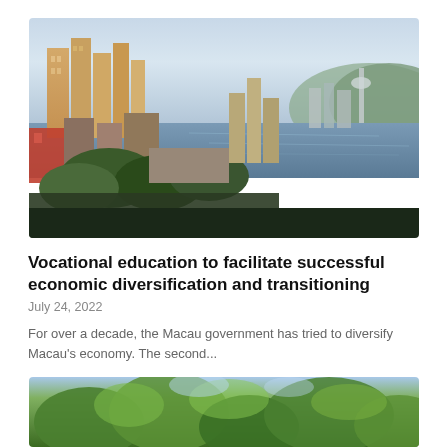[Figure (photo): Aerial panoramic view of Macau city skyline with high-rise buildings, a river/harbour, and hills in the background at dusk/golden hour.]
Vocational education to facilitate successful economic diversification and transitioning
July 24, 2022
For over a decade, the Macau government has tried to diversify Macau's economy. The second...
[Figure (photo): Close-up of green tree canopy with sunlight filtering through leaves.]